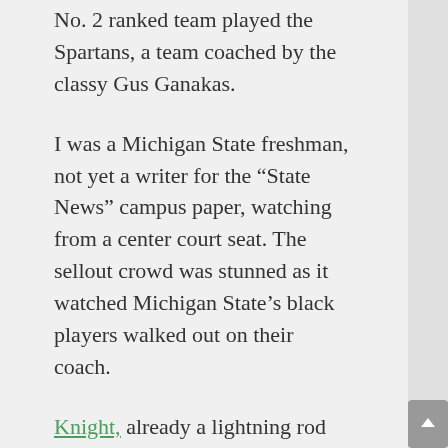No. 2 ranked team played the Spartans, a team coached by the classy Gus Ganakas.
I was a Michigan State freshman, not yet a writer for the “State News” campus paper, watching from a center court seat. The sellout crowd was stunned as it watched Michigan State’s black players walked out on their coach.
Knight, already a lightning rod for his temper, had learned of the walkout when his team arrived at Jenison for the afternoon game. He asked Ganakas how he could help, including offering to have Quinn Buckner, the Hoosiers’ team leader and an African-American point guard, to speak to